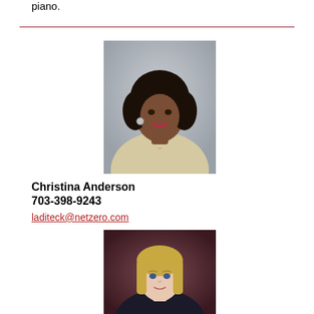piano.
[Figure (photo): Professional headshot of Christina Anderson, a woman with curly black hair wearing a light-colored blazer and necklace, photographed against a grey background.]
Christina Anderson
703-398-9243
laditeck@netzero.com
[Figure (photo): Professional headshot of a woman with straight blonde hair, wearing dark clothing, photographed against a dark reddish-brown background.]